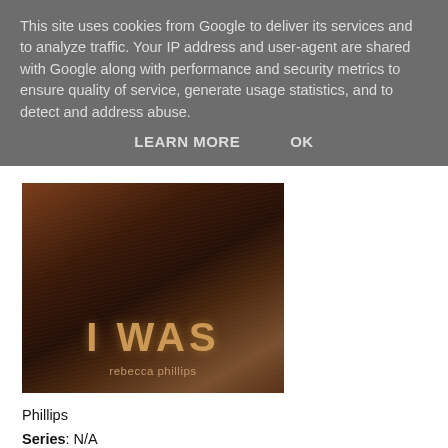This site uses cookies from Google to deliver its services and to analyze traffic. Your IP address and user-agent are shared with Google along with performance and security metrics to ensure quality of service, generate usage statistics, and to detect and address abuse.
LEARN MORE   OK
[Figure (illustration): Book cover showing 'I WAS' in large gold letters with author name 'rebecca phillips' below, on a dark brown background with hair texture]
Phillips
Series: N/A
Source: ARC via Indigo
Publisher: HarperTeen
Publication Date: July 31, 2018
Summary:
No one looking at Morgan Kemper would think she had